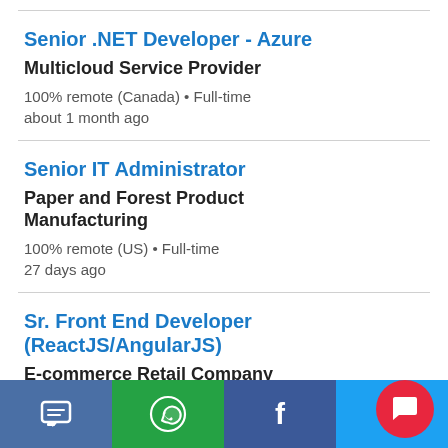Senior .NET Developer - Azure
Multicloud Service Provider
100% remote (Canada) • Full-time
about 1 month ago
Senior IT Administrator
Paper and Forest Product Manufacturing
100% remote (US) • Full-time
27 days ago
Sr. Front End Developer (ReactJS/AngularJS)
E-commerce Retail Company
SMS | WhatsApp | Facebook | Twitter